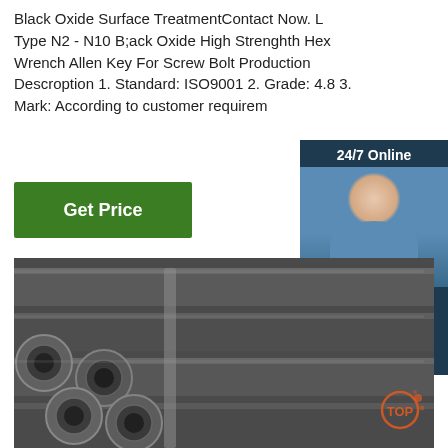Black Oxide Surface TreatmentContact Now. L Type N2 - N10 B;ack Oxide High Strenghth Hex Wrench Allen Key For Screw Bolt Production Descroption 1. Standard: ISO9001 2. Grade: 4.8 3. Mark: According to customer requirem
Get Price
24/7 Online
[Figure (photo): Woman with headset smiling, customer service representative photo]
Click here for free chat !
QUOTATION
[Figure (photo): Stack of dark steel hollow pipes/tubes, industrial photograph]
[Figure (logo): TOP logo watermark in bottom right corner]